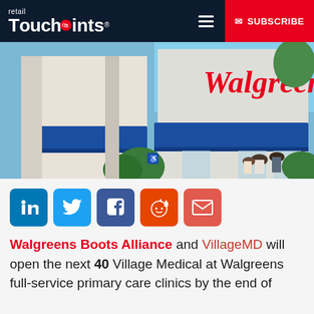retail TouchPoints® [menu] [SUBSCRIBE]
[Figure (photo): Exterior of a Walgreens store showing the red Walgreens script logo sign on the building facade, blue awnings, and people outside near the entrance]
[Figure (infographic): Social share button bar with icons for LinkedIn, Twitter, Facebook, Reddit, and Email]
Walgreens Boots Alliance and VillageMD will open the next 40 Village Medical at Walgreens full-service primary care clinics by the end of